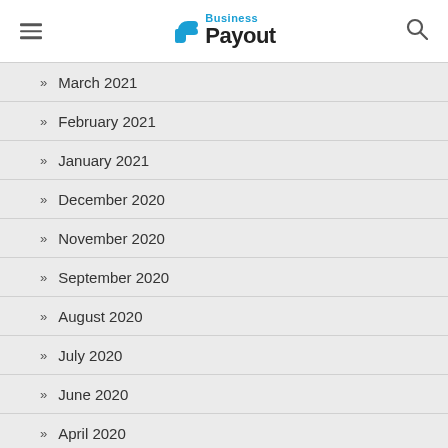Business Payout
March 2021
February 2021
January 2021
December 2020
November 2020
September 2020
August 2020
July 2020
June 2020
April 2020
March 2020